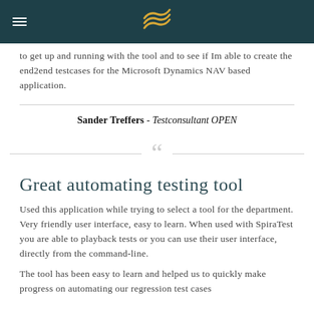to get up and running with the tool and to see if Im able to create the end2end testcases for the Microsoft Dynamics NAV based application.
Sander Treffers - Testconsultant OPEN
Great automating testing tool
Used this application while trying to select a tool for the department. Very friendly user interface, easy to learn. When used with SpiraTest you are able to playback tests or you can use their user interface, directly from the command-line.
The tool has been easy to learn and helped us to quickly make progress on automating our regression test cases